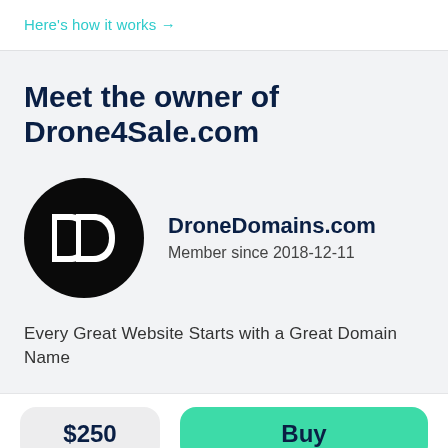Here's how it works →
Meet the owner of Drone4Sale.com
[Figure (logo): DroneDomains.com logo: black circle with white stylized DD letters]
DroneDomains.com
Member since 2018-12-11
Every Great Website Starts with a Great Domain Name
$250
Buy